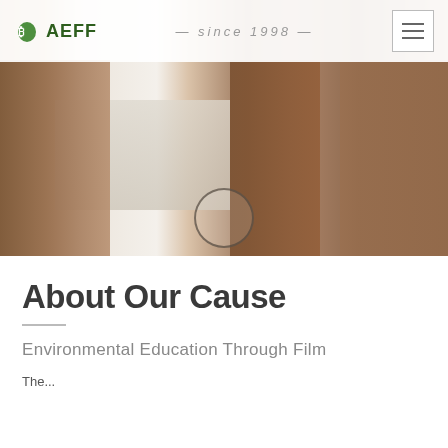[Figure (photo): Close-up photo of elephant legs with snowy/rocky ground between them, serving as a hero banner image]
AEFF | since 1998 | [hamburger menu]
About Our Cause
Environmental Education Through Film
The...